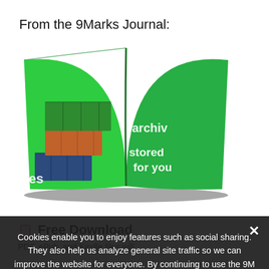From the 9Marks Journal:
[Figure (illustration): Open book with stacked shipping containers on green background, text reads 'archives stored for you']
📋 Free Download
PDF, ePub, and Kindle files will be sent to this email address. As part of our community, you will receive occasional communication from 9Marks. You may opt out at any time.
Cookies enable you to enjoy features such as social sharing. They also help us analyze general site traffic so we can improve the website for everyone. By continuing to use the 9M website, you consent to the use of cookies. More information is available on our Privacy Policy.